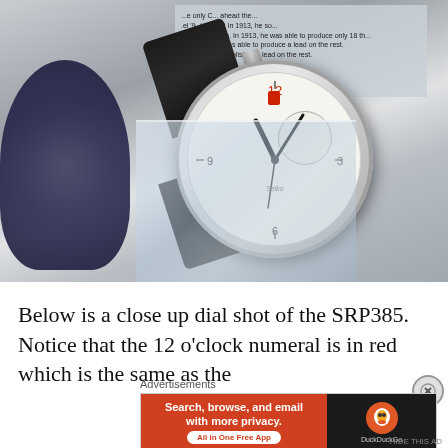[Figure (photo): Close-up photograph of a vintage wristwatch on an acrylic display stand, with a black leather strap. The watch has a round white dial with a sub-dial at the 3 o'clock position and a red marker at the 12 o'clock position. An exhibit placard is visible in the background.]
Below is a close up dial shot of the SRP385. Notice that the 12 o'clock numeral is in red which is the same as the
Advertisements
[Figure (advertisement): DuckDuckGo advertisement banner. Left side: orange/red background with white bold text 'Search, browse, and email with more privacy.' and a white pill button 'All in One Free App'. Right side: dark background with DuckDuckGo duck logo and 'DuckDuckGo' text.]